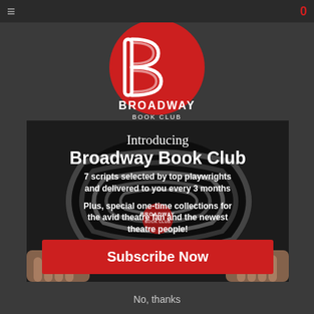≡   0
[Figure (logo): Broadway Book Club logo — red circle with white stylized B lettermark, text BROADWAY BOOK CLUB below in white]
[Figure (photo): Hands holding open a book with black and white swirling pattern cover, with Broadway Book Club logo visible on the book]
Introducing Broadway Book Club
7 scripts selected by top playwrights and delivered to you every 3 months
Plus, special one-time collections for the avid theatre fan and the newest theatre people!
Subscribe Now
No, thanks